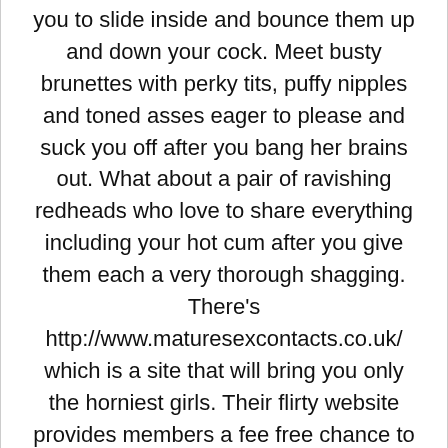you to slide inside and bounce them up and down your cock. Meet busty brunettes with perky tits, puffy nipples and toned asses eager to please and suck you off after you bang her brains out. What about a pair of ravishing redheads who love to share everything including your hot cum after you give them each a very thorough shagging. There's http://www.maturesexcontacts.co.uk/ which is a site that will bring you only the horniest girls. Their flirty website provides members a fee free chance to search through thousands of easy to navigate profiles that make it easy to choose who you want to bang tonight. Try searching for a hot couple who are looking for another cute couple or sexy single to share a bed with. While there are plenty of